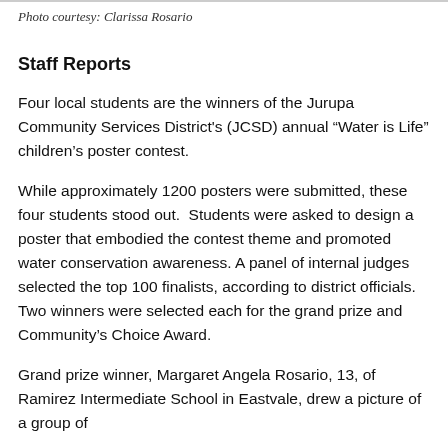Photo courtesy: Clarissa Rosario
Staff Reports
Four local students are the winners of the Jurupa Community Services District's (JCSD) annual “Water is Life” children’s poster contest.
While approximately 1200 posters were submitted, these four students stood out.  Students were asked to design a poster that embodied the contest theme and promoted water conservation awareness. A panel of internal judges selected the top 100 finalists, according to district officials. Two winners were selected each for the grand prize and Community’s Choice Award.
Grand prize winner, Margaret Angela Rosario, 13, of Ramirez Intermediate School in Eastvale, drew a picture of a group of